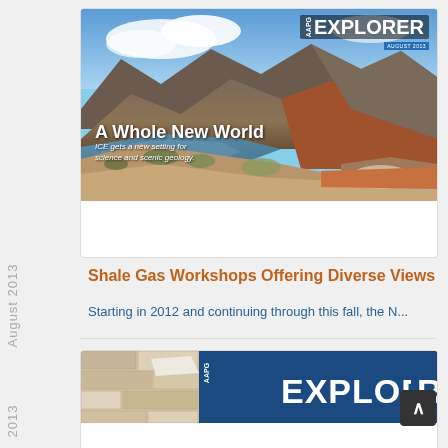August 2013
[Figure (photo): AAPG Explorer magazine cover for August 2013 showing mountain landscape with lake, titled 'A Whole New World – ICE gets a new setting for science and scenic geology']
Shale Gas Workshops Offering Diverse Views
Starting in 2012 and continuing through this fall, the N...
[Figure (photo): Partial view of another AAPG Explorer magazine cover showing stone wall texture with Explorer logo]
2013